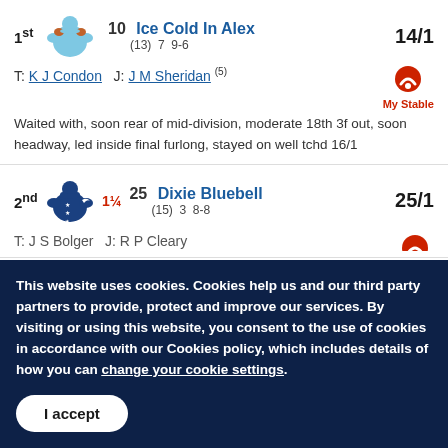1st  10  Ice Cold In Alex  14/1  (13) 7 9-6  T: K J Condon  J: J M Sheridan (5)
Waited with, soon rear of mid-division, moderate 18th 3f out, soon headway, led inside final furlong, stayed on well tchd 16/1
2nd  1¼  25  Dixie Bluebell  25/1  (15) 3 8-8  T: J S Bolger  J: R P Cleary
This website uses cookies. Cookies help us and our third party partners to provide, protect and improve our services. By visiting or using this website, you consent to the use of cookies in accordance with our Cookies policy, which includes details of how you can change your cookie settings.
I accept